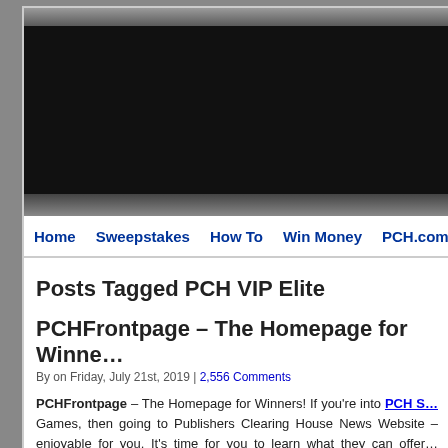[Figure (screenshot): Website header with dark gradient top bar, black banner area, and dark gradient bottom bar]
Home  Sweepstakes  How To  Win Money  PCH.com  PCH Gam…
Posts Tagged PCH VIP Elite
PCHFrontpage – The Homepage for Winne…
By on Friday, July 21st, 2019 | 2,556 Comments
PCHFrontpage – The Homepage for Winners! If you're into PCH S… Games, then going to Publishers Clearing House News Website – enjoyable for you. It's time for you to learn what they can offer… PCHfrontpage from Publishers Clearing House brings you the top ne… to win. Indeed, News, Weather and Your Daily Entry for PCH Swee…